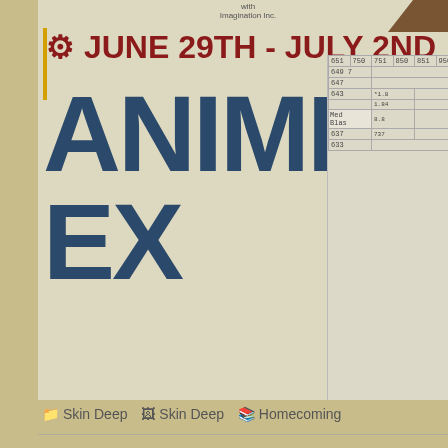[Figure (illustration): Anime Expo banner showing JUNE 29TH - JULY 2ND with large ANIME EX(PO) text in dark blue, floor plan grid on right side, brown element top right corner]
📁 Skin Deep  🖼 Skin Deep  📚 Homecoming
42 Comments
Lupus Draconis  📅 June 25, 2012 @ 2:28 pm  ↩ Reply
Why am I not surprised that THAT'S Merial's ringtone…
Caelean  📅 June 25, 2012 @ 2:41 pm  ↩ Reply